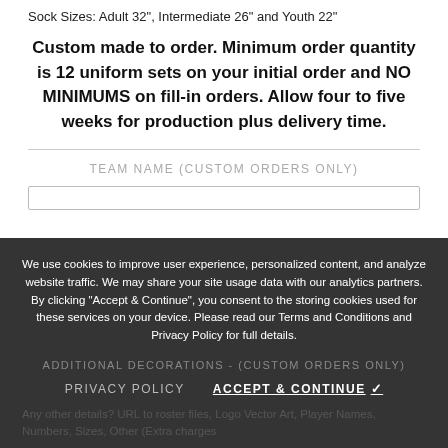Sock Sizes: Adult 32", Intermediate 26" and Youth 22"
Custom made to order. Minimum order quantity is 12 uniform sets on your initial order and NO MINIMUMS on fill-in orders. Allow four to five weeks for production plus delivery time.
TEAM NAME (CUSTOM ORDERS ONLY)
We use cookies to improve user experience, personalized content, and analyze website traffic. We may share your site usage data with our analytics partners. By clicking “Accept & Continue”, you consent to the storing cookies used for these services on your device. Please read our Terms and Conditions and Privacy Policy for full details.
ADDITIONAL DECORATIONS - (CUSTOM ORDERS ONLY)
PRIVACY POLICY   ACCEPT & CONTINUE ✓
Any other details? URL to roster files, Logo Vector Art, Player Names, Numbers, Sizes, Other (Extra charges